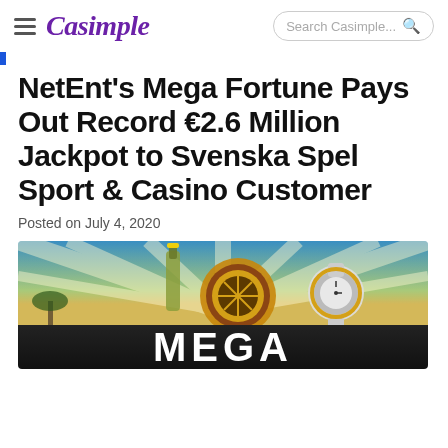Casimple | Search Casimple...
NetEnt's Mega Fortune Pays Out Record €2.6 Million Jackpot to Svenska Spel Sport & Casino Customer
Posted on July 4, 2020
[Figure (illustration): Mega Fortune slot game promotional image showing a roulette wheel, a luxury watch, and the word MEGA in large white letters on a dark banner, with a sunburst sky background.]